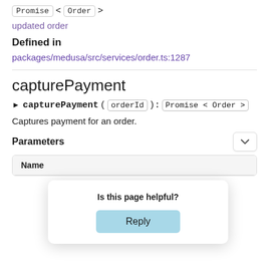Promise < Order >
updated order
Defined in
packages/medusa/src/services/order.ts:1287
capturePayment
► capturePayment( orderId ): Promise < Order >
Captures payment for an order.
Parameters
| Name |
| --- |
Is this page helpful?
Reply